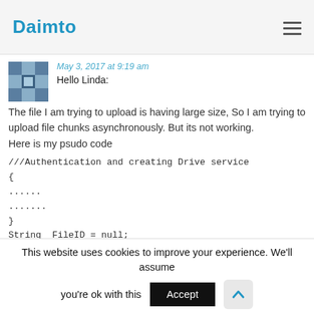Daimto
May 3, 2017 at 9:19 am
Hello Linda:
The file I am trying to upload is having large size, So I am trying to upload file chunks asynchronously. But its not working.
Here is my psudo code
///Authentication and creating Drive service
{
......
.......
}
String _FileID = null;
///Creating file initially and assigning properties
{
This website uses cookies to improve your experience. We'll assume you're ok with this  Accept